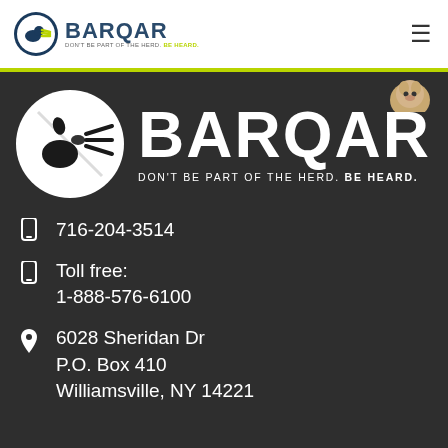BARQAR — DON'T BE PART OF THE HERD. BE HEARD. (navigation bar with logo and hamburger menu)
[Figure (logo): BARQAR logo: large white circle with stylized dog barking at a megaphone, brand name BARQAR in bold white, tagline DON'T BE PART OF THE HERD. BE HEARD.]
716-204-3514
Toll free:
1-888-576-6100
6028 Sheridan Dr
P.O. Box 410
Williamsville, NY 14221